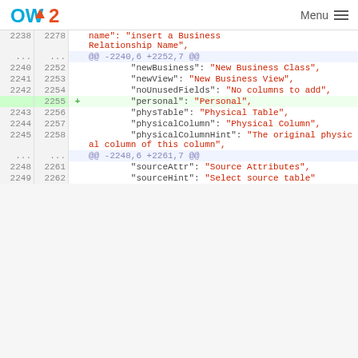OW2 | Menu
[Figure (screenshot): Code diff view showing JSON language file changes, lines 2238-2262, with additions including 'personal': 'Personal' on line 2255]
name": "insert a Business Relationship Name",
@@ -2240,6 +2252,7 @@
"newBusiness": "New Business Class",
"newView": "New Business View",
"noUnusedFields": "No columns to add",
+ "personal": "Personal",
"physTable": "Physical Table",
"physicalColumn": "Physical Column",
"physicalColumnHint": "The original physical column of this column",
@@ -2248,6 +2261,7 @@
"sourceAttr": "Source Attributes",
"sourceHint": "Select source table"